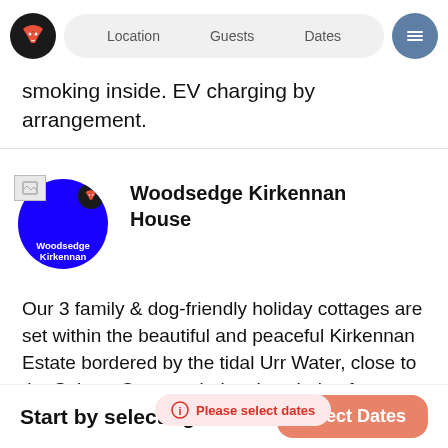[Figure (screenshot): Navigation bar with fox logo, search pills (Location, Guests, Dates), and hamburger menu button]
smoking inside. EV charging by arrangement.
[Figure (logo): Woodsedge Kirkennan House logo - blue circle with white text and fox icon]
Woodsedge Kirkennan House
Our 3 family & dog-friendly holiday cottages are set within the beautiful and peaceful Kirkennan Estate bordered by the tidal Urr Water, close to the Solway Coa… xploring the whole of Dumfries and Galloway in South West
[Figure (infographic): Please select dates toast notification in pink/red]
Start by selecting dates
Select Dates